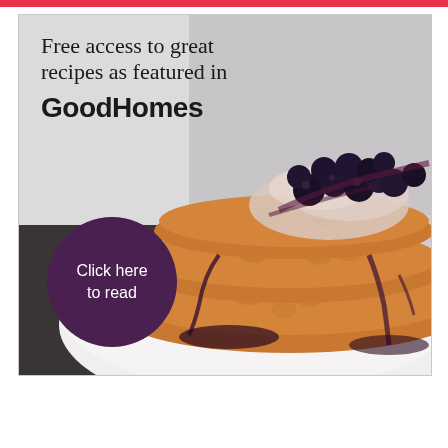[Figure (photo): Advertisement for GoodHomes magazine recipes featuring a stack of pancakes topped with blueberries and berry sauce on a white plate. Contains text overlay 'Free access to great recipes as featured in GoodHomes' and a purple circle button reading 'Click here to read'.]